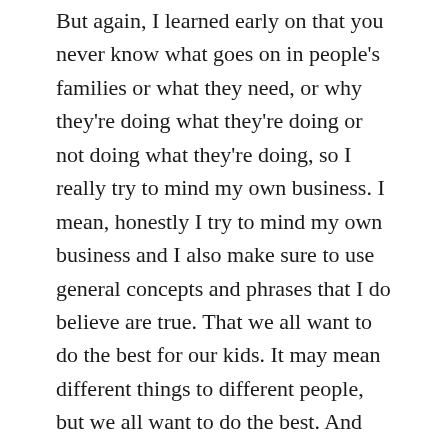But again, I learned early on that you never know what goes on in people's families or what they need, or why they're doing what they're doing or not doing what they're doing, so I really try to mind my own business. I mean, honestly I try to mind my own business and I also make sure to use general concepts and phrases that I do believe are true. That we all want to do the best for our kids. It may mean different things to different people, but we all want to do the best. And once you kind of level the playing field, then you can open up a conversation and then you can get away from all that stupid mommy wars stuff.
Do you remember a turning point when you decided that to have a conversation on the